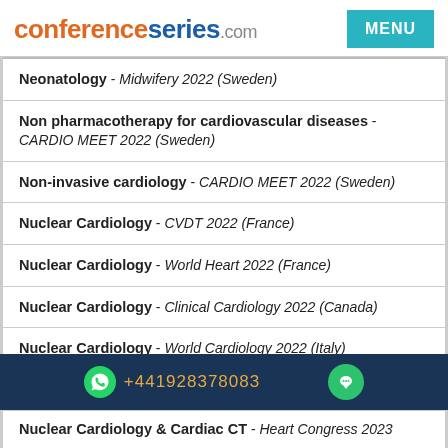conferenceseries.com
Neonatology - Midwifery 2022 (Sweden)
Non pharmacotherapy for cardiovascular diseases - CARDIO MEET 2022 (Sweden)
Non-invasive cardiology - CARDIO MEET 2022 (Sweden)
Nuclear Cardiology - CVDT 2022 (France)
Nuclear Cardiology - World Heart 2022 (France)
Nuclear Cardiology - Clinical Cardiology 2022 (Canada)
Nuclear Cardiology - World Cardiology 2022 (Italy)
Nuclear Cardiology & Cardiac CT - World Heart Congress 2022 (Italy)
+441928378083
Nuclear Cardiology & Cardiac CT - Heart Congress 2023